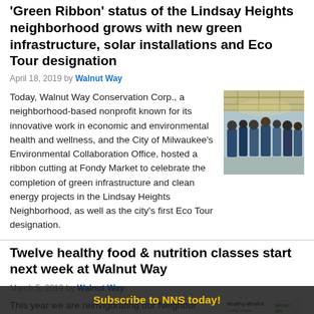'Green Ribbon' status of the Lindsay Heights neighborhood grows with new green infrastructure, solar installations and Eco Tour designation
April 18, 2019 by Walnut Way
Today, Walnut Way Conservation Corp., a neighborhood-based nonprofit known for its innovative work in economic and environmental health and wellness, and the City of Milwaukee's Environmental Collaboration Office, hosted a ribbon cutting at Fondy Market to celebrate the completion of green infrastructure and clean energy projects in the Lindsay Heights Neighborhood, as well as the city's first Eco Tour designation.
[Figure (photo): Group of people at a ribbon cutting ceremony under a large canopy structure]
Twelve healthy food & nutrition classes start next week at Walnut Way
March 5, 2019 by Walnut Way
This year we are reinvigorating our Neighbor Nights with 12 classes focused on healthy eating and nutrition.
[Figure (photo): Healthy Mindful Living Circle promotional image with green banner and Walnut Way logo]
Subscribe to NNS today!